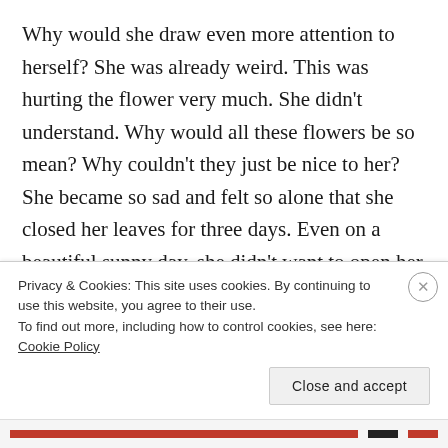Why would she draw even more attention to herself? She was already weird. This was hurting the flower very much. She didn't understand. Why would all these flowers be so mean? Why couldn't they just be nice to her?
She became so sad and felt so alone that she closed her leaves for three days. Even on a beautiful sunny day, she didn't want to open her leaves. She could hear the flowers around her chat and laugh, but was too afraid to open herself again.
Privacy & Cookies: This site uses cookies. By continuing to use this website, you agree to their use.
To find out more, including how to control cookies, see here: Cookie Policy